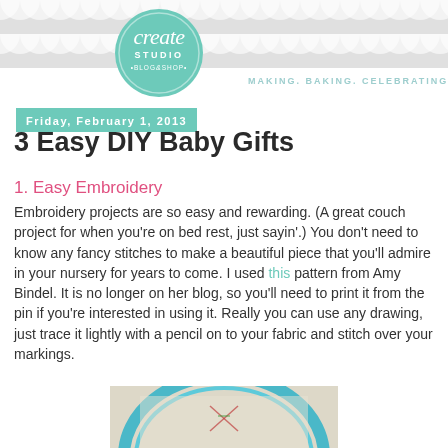[Figure (logo): Create Studio Blog & Shop logo — teal circle with 'create' in italic script and 'STUDIO' in uppercase letters, tagline 'MAKING. BAKING. CELEBRATING!' in teal to the right]
Friday, February 1, 2013
3 Easy DIY Baby Gifts
1. Easy Embroidery
Embroidery projects are so easy and rewarding. (A great couch project for when you're on bed rest, just sayin'.)  You don't need to know any fancy stitches to make a beautiful piece that you'll admire in your nursery for years to come.  I used this pattern from Amy Bindel.  It is no longer on her blog, so you'll need to print it from the pin if you're interested in using it.  Really you can use any drawing, just trace it lightly with a pencil on to your fabric and stitch over your markings.
[Figure (photo): Photo of an embroidery hoop with a cross-stitch design on light fabric, with a teal/blue hoop border, partially visible at the bottom of the page]